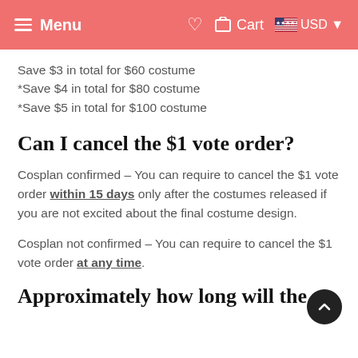Menu  ♥  Cart  USD
Save $3 in total for $60 costume
*Save $4 in total for $80 costume
*Save $5 in total for $100 costume
Can I cancel the $1 vote order?
Cosplan confirmed – You can require to cancel the $1 vote order within 15 days only after the costumes released if you are not excited about the final costume design.
Cosplan not confirmed – You can require to cancel the $1 vote order at any time.
Approximately how long will the